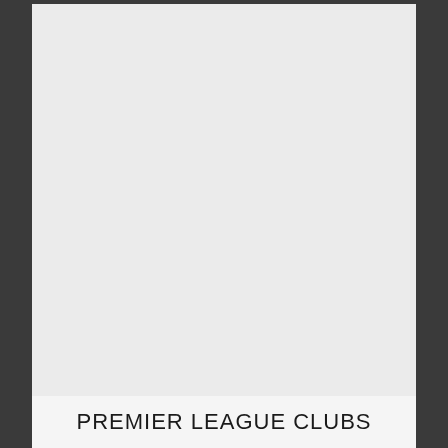[Figure (other): Large blank/empty light grey area occupying most of the page]
PREMIER LEAGUE CLUBS